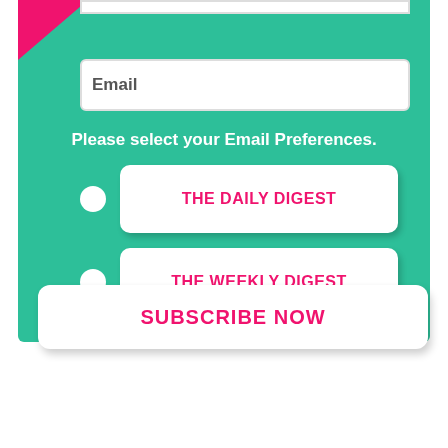[Figure (screenshot): Email subscription form on teal background with pink accent corner, showing Email input field, 'Please select your Email Preferences.' label, two radio button options (THE DAILY DIGEST, THE WEEKLY DIGEST), and a SUBSCRIBE NOW button.]
Email
Please select your Email Preferences.
THE DAILY DIGEST
THE WEEKLY DIGEST
SUBSCRIBE NOW